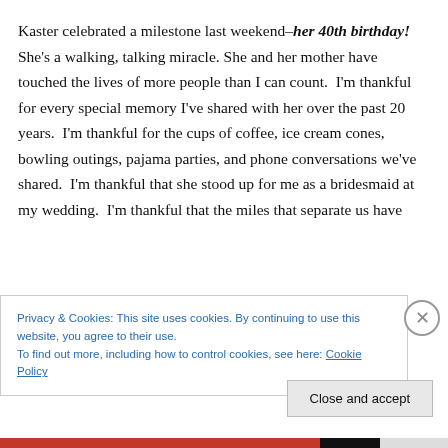Kaster celebrated a milestone last weekend–her 40th birthday!  She's a walking, talking miracle. She and her mother have touched the lives of more people than I can count.  I'm thankful for every special memory I've shared with her over the past 20 years.  I'm thankful for the cups of coffee, ice cream cones, bowling outings, pajama parties, and phone conversations we've shared.  I'm thankful that she stood up for me as a bridesmaid at my wedding.  I'm thankful that the miles that separate us have
Privacy & Cookies: This site uses cookies. By continuing to use this website, you agree to their use.
To find out more, including how to control cookies, see here: Cookie Policy
Close and accept